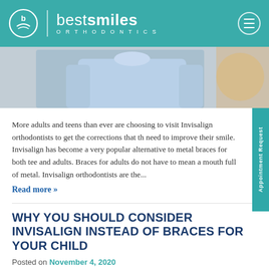best smiles ORTHODONTICS
[Figure (photo): Photo of a person wearing a light blue shirt, partial torso view, blurred background with warm tones]
More adults and teens than ever are choosing to visit Invisalign orthodontists to get the corrections that they need to improve their smile. Invisalign has become a very popular alternative to metal braces for both teens and adults. Braces for adults do not have to mean a mouth full of metal. Invisalign orthodontists are the...
Read more »
WHY YOU SHOULD CONSIDER INVISALIGN INSTEAD OF BRACES FOR YOUR CHILD
Posted on November 4, 2020